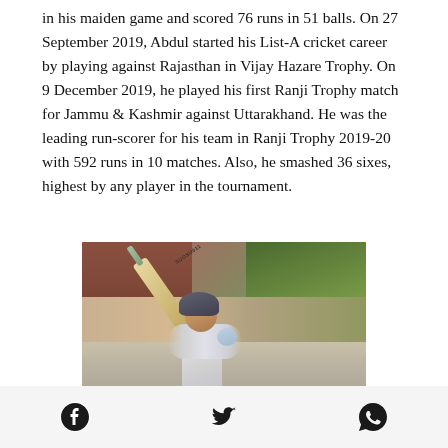in his maiden game and scored 76 runs in 51 balls. On 27 September 2019, Abdul started his List-A cricket career by playing against Rajasthan in Vijay Hazare Trophy. On 9 December 2019, he played his first Ranji Trophy match for Jammu & Kashmir against Uttarakhand. He was the leading run-scorer for his team in Ranji Trophy 2019-20 with 592 runs in 10 matches. Also, he smashed 36 sixes, highest by any player in the tournament.
[Figure (photo): A cricket batsman in white uniform and dark helmet mid-swing with a cricket bat, in an outdoor setting with trees and a red brick wall in the background.]
Social share icons: Facebook, Twitter, WhatsApp